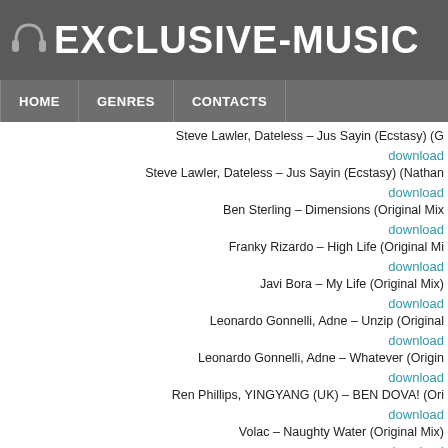[Figure (logo): Exclusive-Music website logo with headphone icon on dark grey background]
HOME | GENRES | CONTACTS
Steve Lawler, Dateless – Jus Sayin (Ecstasy) (G... download
Steve Lawler, Dateless – Jus Sayin (Ecstasy) (Nathan... download
Ben Sterling – Dimensions (Original Mix... download
Franky Rizardo – High Life (Original Mi... download
Javi Bora – My Life (Original Mix) download
Leonardo Gonnelli, Adne – Unzip (Original... download
Leonardo Gonnelli, Adne – Whatever (Origin... download
Ren Phillips, YINGYANG (UK) – BEN DOVA! (Ori... download
Volac – Naughty Water (Original Mix)... download
The Schmidt – Airplane Mode (Original M...